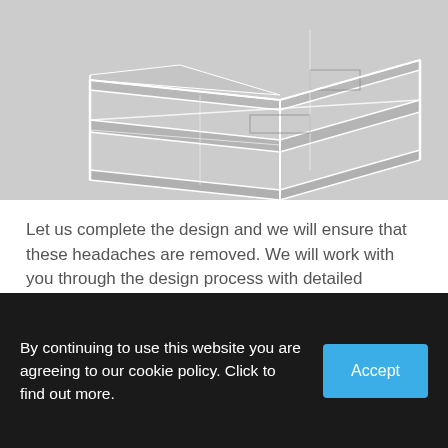[Figure (engineering-diagram): 3D wireframe/engineering diagram of a multi-shelf or rack structure, shown in an isometric view with white structural lines on a light grey background]
Let us complete the design and we will ensure that these headaches are removed. We will work with you through the design process with detailed drawings & 3D models ensuring your vision for the project is executed exactly.
Cost
By continuing to use this website you are agreeing to our cookie policy. Click to find out more.